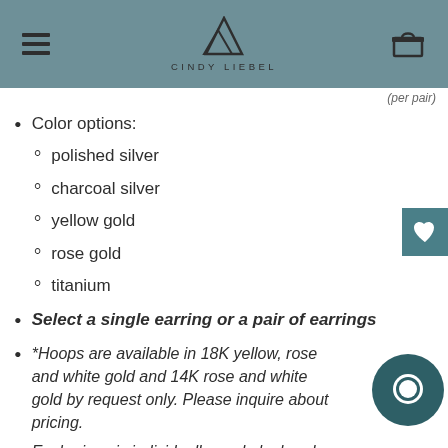CINDY LIEBEL
Color options:
polished silver
charcoal silver
yellow gold
rose gold
titanium
Select a single earring or a pair of earrings
*Hoops are available in 18K yellow, rose and white gold and 14K rose and white gold by request only. Please inquire about pricing.
Each piece is individually made by hand